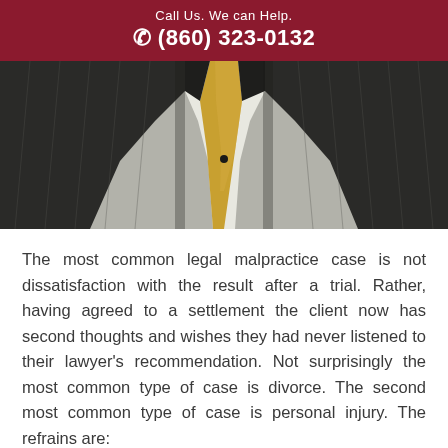Call Us. We can Help.
☎ (860) 323-0132
[Figure (photo): Photo of a person in a dark pinstripe suit with a gold/yellow tie, torso only visible, hands in pockets]
The most common legal malpractice case is not dissatisfaction with the result after a trial. Rather, having agreed to a settlement the client now has second thoughts and wishes they had never listened to their lawyer's recommendation. Not surprisingly the most common type of case is divorce. The second most common type of case is personal injury. The refrains are: